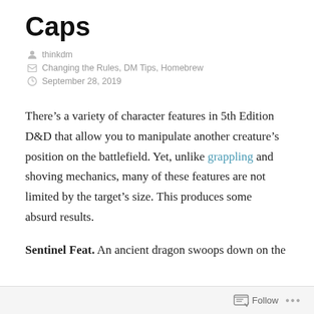Caps
thinkdm
Changing the Rules, DM Tips, Homebrew
September 28, 2019
There’s a variety of character features in 5th Edition D&D that allow you to manipulate another creature’s position on the battlefield. Yet, unlike grappling and shoving mechanics, many of these features are not limited by the target’s size. This produces some absurd results.
Sentinel Feat. An ancient dragon swoops down on the
Follow •••